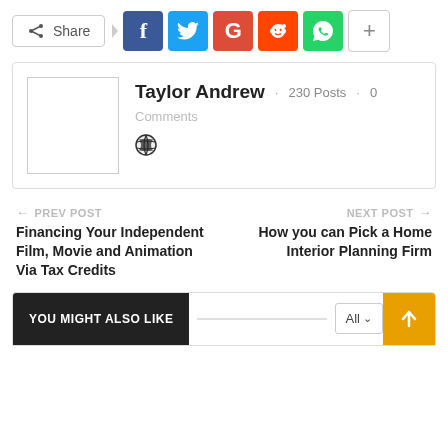[Figure (screenshot): Social share bar with Share button, Facebook, Twitter, Google+, Reddit, WhatsApp, and plus button]
Taylor Andrew · 230 Posts · 0 Comments
← PREV POST
Financing Your Independent Film, Movie and Animation Via Tax Credits
NEXT POST →
How you can Pick a Home Interior Planning Firm
YOU MIGHT ALSO LIKE    All ↓